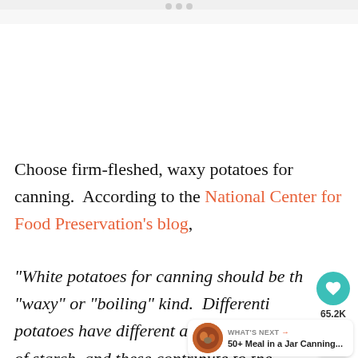Choose firm-fleshed, waxy potatoes for canning.  According to the National Center for Food Preservation's blog,
"White potatoes for canning should be th... "waxy" or "boiling" kind.  Differenti... potatoes have different amounts and types of...